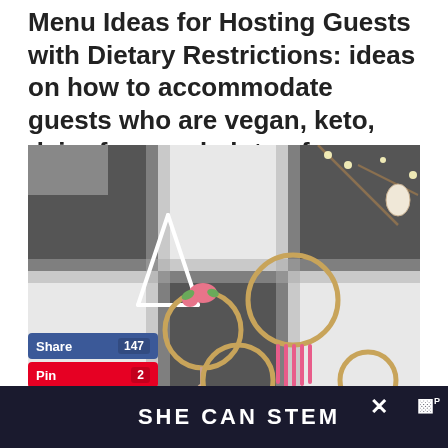Menu Ideas for Hosting Guests with Dietary Restrictions: ideas on how to accommodate guests who are vegan, keto, dairy-free, and gluten-free.
[Figure (photo): Room decorated with a black and white buffalo check plaid wall pattern, with various hanging boho-style embroidery hoops, dream catchers with pink fringe, white macrame triangle, twigs with string lights, and decorative ornaments.]
[Figure (screenshot): Social share buttons: Facebook Share (147), Pinterest Pin (2), Twitter Tweet]
SHE CAN STEM